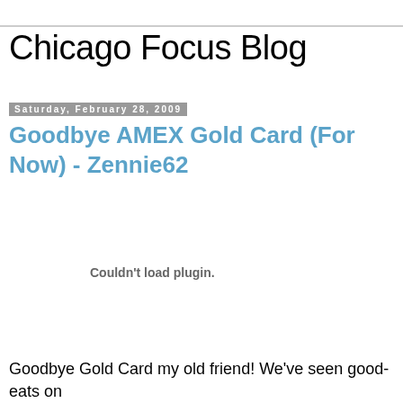Chicago Focus Blog
Saturday, February 28, 2009
Goodbye AMEX Gold Card (For Now) - Zennie62
Couldn't load plugin.
Goodbye Gold Card my old friend! We've seen good-eats on